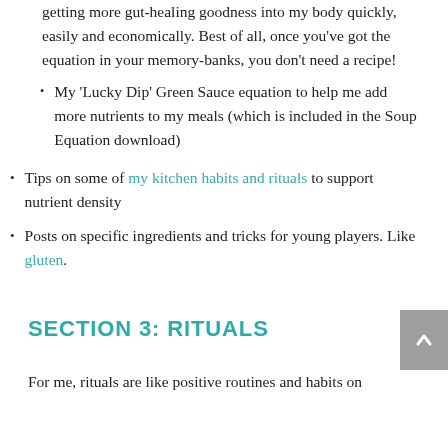getting more gut-healing goodness into my body quickly, easily and economically. Best of all, once you’ve got the equation in your memory-banks, you don’t need a recipe!
My ‘Lucky Dip’ Green Sauce equation to help me add more nutrients to my meals (which is included in the Soup Equation download)
Tips on some of my kitchen habits and rituals to support nutrient density
Posts on specific ingredients and tricks for young players. Like gluten.
SECTION 3: RITUALS
For me, rituals are like positive routines and habits on